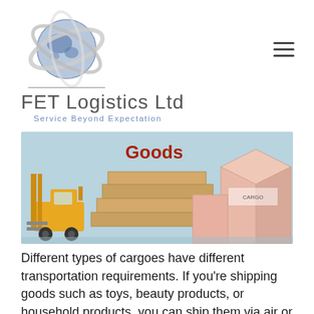[Figure (logo): FET Logistics Ltd globe logo with orbital rings around a world map globe, grey and blue tones]
FET Logistics Ltd
Service Beyond Expectation
[Figure (photo): Photo of a toy yellow forklift moving stacked wooden blocks on a light blue background, with pink cardboard boxes on the right side. The word 'Goods' appears in bold red text overlaid on the image.]
Different types of cargoes have different transportation requirements. If you're shipping goods such as toys, beauty products, or household products, you can ship them via air or sea. But it doesn't work like that for every good. Some goods have to be shipped in specific ways.